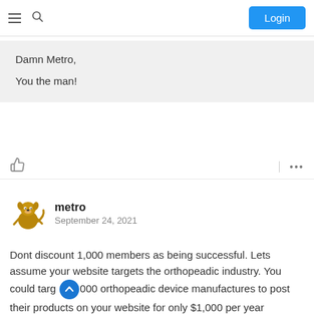≡  🔍  Login
Damn Metro,

You the man!
metro
September 24, 2021
Dont discount 1,000 members as being successful. Lets assume your website targets the orthopeadic industry. You could targ…000 orthopeadic device manufactures to post their products on your website for only $1,000 per year (peanuts to them). Slight math